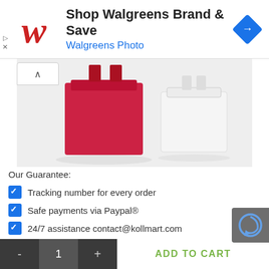[Figure (screenshot): Walgreens advertisement banner with Walgreens script logo in red, text 'Shop Walgreens Brand & Save' and 'Walgreens Photo' in blue, and a blue diamond navigation icon on the right.]
[Figure (photo): Product photo showing a red handbag/box and a white handbag/box on a light background.]
Our Guarantee:
Tracking number for every order
Safe payments via Paypal®
24/7 assistance contact@kollmart.com
No hidden fees!
Free Shipping Worldwide:
Please allow 2-4 weeks for delivery to the United States,